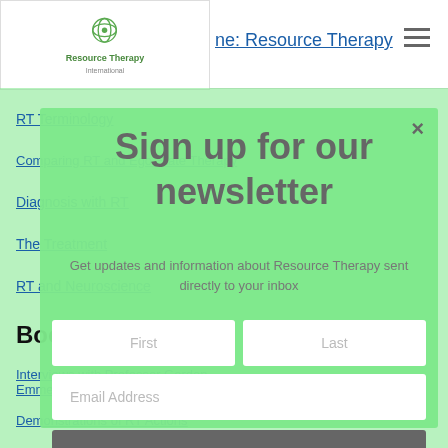ne: Resource Therapy
RT Terminology
Comparing RT and Ego State Therapy
Diagnosis with RT
The Treatment
RT and Neuroscience
Books
Interviews with Professor Gordon Emmerson
Demonstrations of RT Actions
Sign up for our newsletter
Get updates and information about Resource Therapy sent directly to your inbox
First | Last | Email Address | Subscribe